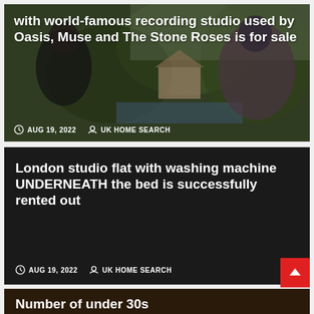[Figure (photo): News article card with background photo of two people and a house with recording studio, overlaid with article title text and metadata]
with world-famous recording studio used by Oasis, Muse and The Stone Roses is for sale
AUG 19, 2022   UK HOME SEARCH
London studio flat with washing machine UNDERNEATH the bed is successfully rented out
AUG 19, 2022   UK HOME SEARCH
Number of under 30s